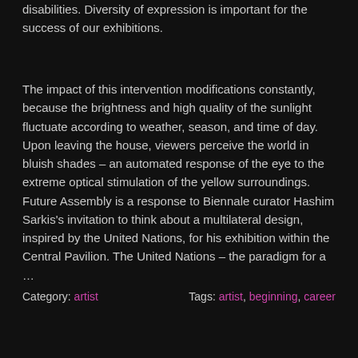disabilities. Diversity of expression is important for the success of our exhibitions.
The impact of this intervention modifications constantly, because the brightness and high quality of the sunlight fluctuate according to weather, season, and time of day. Upon leaving the house, viewers perceive the world in bluish shades – an automated response of the eye to the extreme optical stimulation of the yellow surroundings. Future Assembly is a response to Biennale curator Hashim Sarkis's invitation to think about a multilateral design, inspired by the United Nations, for his exhibition within the Central Pavilion. The United Nations – the paradigm for a …
Category: artist   Tags: artist, beginning, career